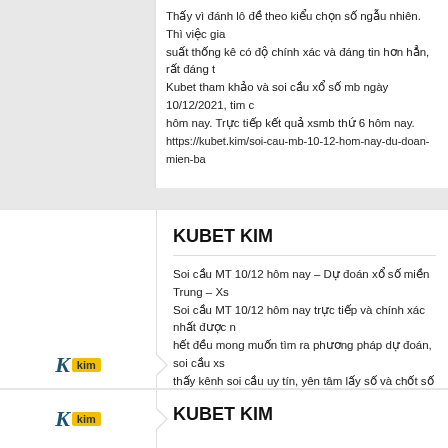Thấy vì đánh lô đề theo kiểu chọn số ngẫu nhiên. Thì việc giải thích xác suất thống kê có độ chính xác và đáng tin hơn hẳn, rất đáng tham khảo. Kubet tham khảo và soi cầu xổ số mb ngày 10/12/2021, tìm cầu xsmb hôm nay. Trực tiếp kết quả xsmb thứ 6 hôm nay. https://kubet.kim/soi-cau-mb-10-12-hom-nay-du-doan-mien-ba...
KUBET KIM
Soi cầu MT 10/12 hôm nay – Dự đoán xổ số miền Trung – Xs... Soi cầu MT 10/12 hôm nay trực tiếp và chính xác nhất được m... hết đều mong muốn tìm ra phương pháp dự đoán, soi cầu xs... thấy kênh soi cầu uy tín, yên tâm lấy số và chốt số giờ vàng a... đoán, soi cầu MT 10/12/2021 nhanh chóng truy cập Ku Casin... soi cầu xsmt hôm nay thứ 6! https://kubet.kim/soi-cau-mt-10-12-hom-nay-du-doan-mien-tru...
KUBET KIM